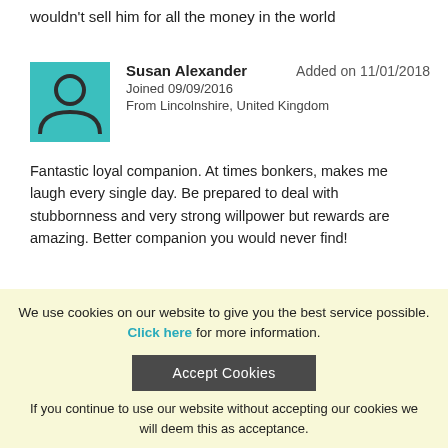wouldn't sell him for all the money in the world
Susan Alexander  Added on 11/01/2018
Joined 09/09/2016
From Lincolnshire, United Kingdom
Fantastic loyal companion. At times bonkers, makes me laugh every single day. Be prepared to deal with stubbornness and very strong willpower but rewards are amazing. Better companion you would never find!
Colette atkinson  Added on 13/01/2018
We use cookies on our website to give you the best service possible. Click here for more information.
Accept Cookies
If you continue to use our website without accepting our cookies we will deem this as acceptance.